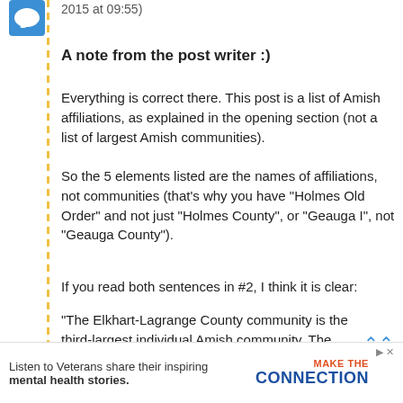2015 at 09:55)
A note from the post writer :)
Everything is correct there. This post is a list of Amish affiliations, as explained in the opening section (not a list of largest Amish communities).
So the 5 elements listed are the names of affiliations, not communities (that’s why you have “Holmes Old Order” and not just “Holmes County”, or “Geauga I”, not “Geauga County”).
If you read both sentences in #2, I think it is clear:
“The Elkhart-Lagrange County community is the third-largest individual Amish community. The settlement’s *affiliation* extends to nine communities in three states, for a total of 177 churches.” (*emphasis* added)
Sometimes the names of communities are the same as the [text continues below ad]
[Figure (screenshot): Advertisement banner: Listen to Veterans share their inspiring mental health stories. Make The Connection logo.]